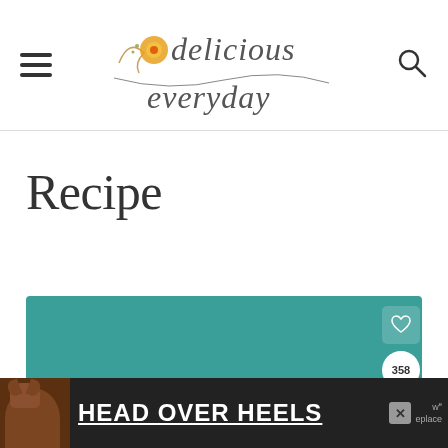delicious everyday
Recipe
[Figure (screenshot): Teal-colored recipe card area with heart, 358 save count, and share icons on the right side. A dog food advertisement banner overlays the bottom showing a dog image and 'HEAD OVER HEELS' text.]